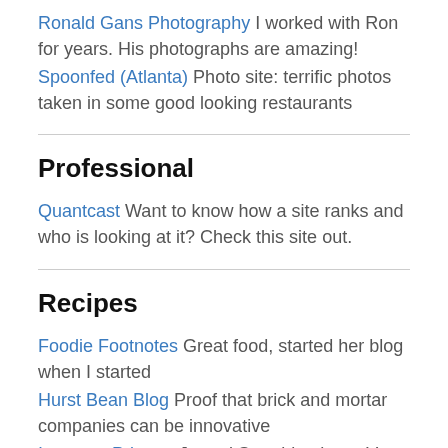Ronald Gans Photography I worked with Ron for years. His photographs are amazing!
Spoonfed (Atlanta) Photo site: terrific photos taken in some good looking restaurants
Professional
Quantcast Want to know how a site ranks and who is looking at it? Check this site out.
Recipes
Foodie Footnotes Great food, started her blog when I started
Hurst Bean Blog Proof that brick and mortar companies can be innovative
Innocent Primate Jo and Sara blog here. Very good about what to cook, and exceptionally good about how to cook.
Iron Stef This blog has been coming on like gangbusters in recent